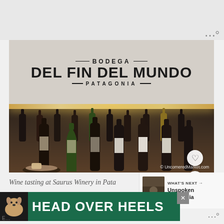[Figure (photo): Photo of Bodega Del Fin Del Mundo Patagonia winery sign and wine bottles on a lit shelf. Multiple wine bottles displayed below signage on a warm backlit shelf. Copyright UncorneredMarket.com]
Wine tasting at Saurus Winery in Pata…
[Figure (photo): What's Next thumbnail – Unspoken Patagonia]
WHAT'S NEXT → Unspoken Patagonia
[Figure (photo): Advertisement banner – HEAD OVER HEELS with dog illustration, green background]